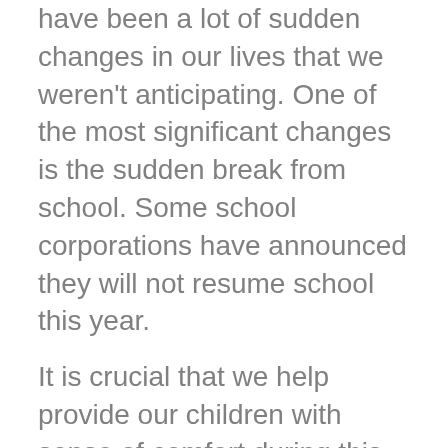have been a lot of sudden changes in our lives that we weren't anticipating. One of the most significant changes is the sudden break from school. Some school corporations have announced they will not resume school this year.
It is crucial that we help provide our children with sense of comfort during this time. What are some things we can do to help provide our children with comfort and routine during a time that seems to be anything BUT routine?
First, take care of your own mental health. If you're feeling anxious about current